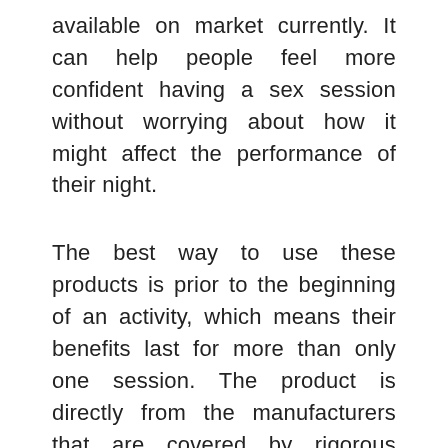available on market currently. It can help people feel more confident having a sex session without worrying about how it might affect the performance of their night.
The best way to use these products is prior to the beginning of an activity, which means their benefits last for more than only one session. The product is directly from the manufacturers that are covered by rigorous quality control to ensure that each bottle is put into circulation.